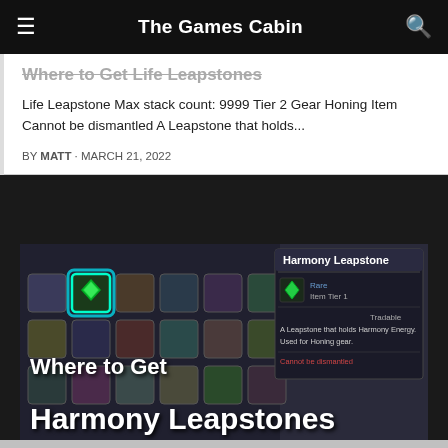The Games Cabin
Where to Get Life Leapstones
Life Leapstone Max stack count: 9999 Tier 2 Gear Honing Item Cannot be dismantled A Leapstone that holds...
BY MATT · MARCH 21, 2022
[Figure (screenshot): Game screenshot showing Harmony Leapstone item tooltip with text 'Where to Get Harmony Leapstones' overlaid in white bold font. The background shows a game inventory grid with colorful items, and a tooltip panel on the right showing 'Harmony Leapstone, Rare, Item Tier 1, Tradable, Cannot be dismantled'.]